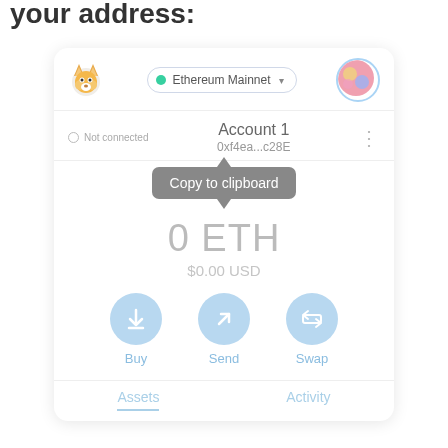your address:
[Figure (screenshot): MetaMask wallet interface screenshot showing: fox logo top left, Ethereum Mainnet network selector, colorful avatar top right, Account 1 with address 0xf4ea...c28E, 'Copy to clipboard' tooltip, 0 ETH balance, $0.00 USD, Buy/Send/Swap action buttons, Assets and Activity tabs at bottom]